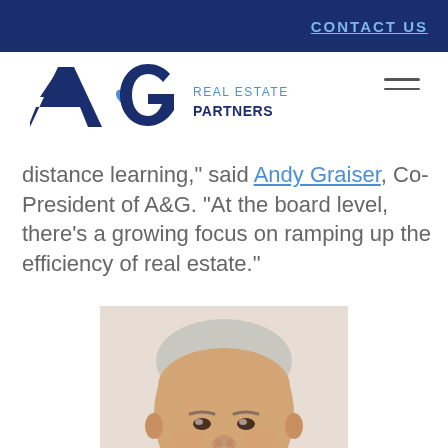CONTACT US
[Figure (logo): A&G Real Estate Partners logo with stylized A&G letters in navy and blue]
distance learning," said Andy Graiser, Co-President of A&G. "At the board level, there's a growing focus on ramping up the efficiency of real estate."
[Figure (photo): Professional headshot of a middle-aged man with short gray-white hair and a salt-and-pepper goatee, wearing a light-colored shirt, close-up portrait]